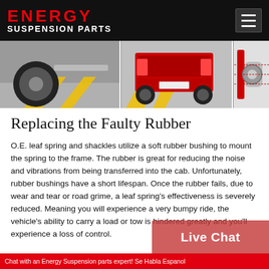ENERGY SUSPENSION PARTS
[Figure (illustration): Three-panel banner illustration showing automotive suspension components: left panel shows a wheel/tire with yellow road markings, center panel shows rear view of a red pickup truck with yellow road markings, right panel shows a mechanical suspension part/component in red and silver.]
Replacing the Faulty Rubber
O.E. leaf spring and shackles utilize a soft rubber bushing to mount the spring to the frame. The rubber is great for reducing the noise and vibrations from being transferred into the cab. Unfortunately, rubber bushings have a short lifespan. Once the rubber fails, due to wear and tear or road grime, a leaf spring's effectiveness is severely reduced. Meaning you will experience a very bumpy ride, the vehicle's ability to carry a load or tow is hindered greatly and you'll experience a loss of control.
Chat with an Energy Suspension parts expert! Se Habla Espanol